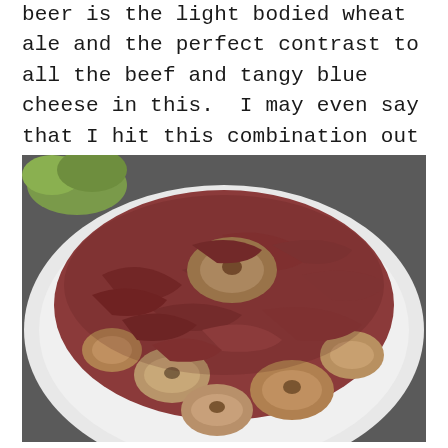beer is the light bodied wheat ale and the perfect contrast to all the beef and tangy blue cheese in this.  I may even say that I hit this combination out of the park!
[Figure (photo): A white bowl filled with a large pile of cooked sliced mushrooms and shredded roast beef or deli meat, with some leafy greens visible in the background upper left.]